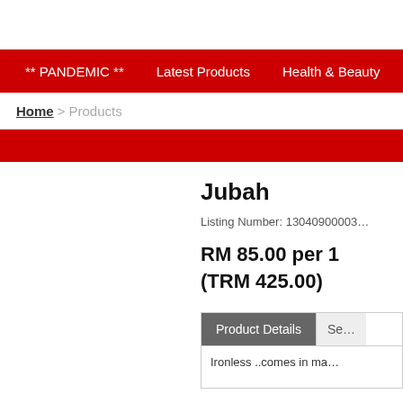** PANDEMIC **   Latest Products   Health & Beauty   Food & B…
Home > Products
Jubah
Listing Number: 13040900003…
RM 85.00 per 1 (TRM 425.00)
Product Details   Se…
Ironless ..comes in ma…